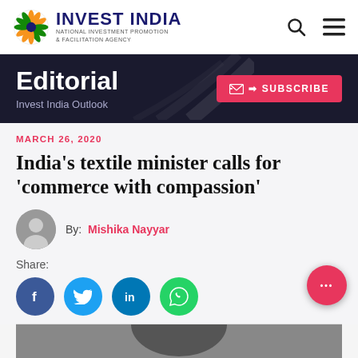INVEST INDIA | NATIONAL INVESTMENT PROMOTION & FACILITATION AGENCY
Editorial
Invest India Outlook
MARCH 26, 2020
India's textile minister calls for 'commerce with compassion'
By: Mishika Nayyar
Share:
[Figure (infographic): Social sharing icons: Facebook (blue), Twitter (light blue), LinkedIn (dark blue), WhatsApp (green)]
[Figure (photo): Partial photo of a person at the bottom of the page]